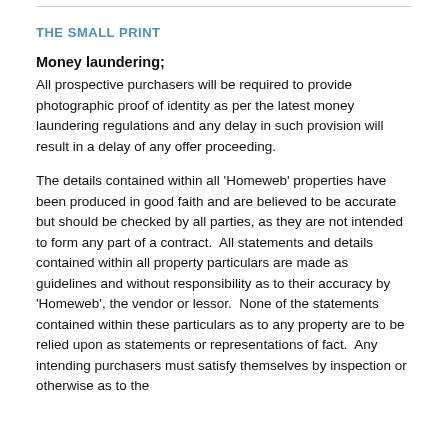THE SMALL PRINT
Money laundering;
All prospective purchasers will be required to provide photographic proof of identity as per the latest money laundering regulations and any delay in such provision will result in a delay of any offer proceeding.
The details contained within all 'Homeweb' properties have been produced in good faith and are believed to be accurate but should be checked by all parties, as they are not intended to form any part of a contract.  All statements and details contained within all property particulars are made as guidelines and without responsibility as to their accuracy by 'Homeweb', the vendor or lessor.  None of the statements contained within these particulars as to any property are to be relied upon as statements or representations of fact.  Any intending purchasers must satisfy themselves by inspection or otherwise as to the